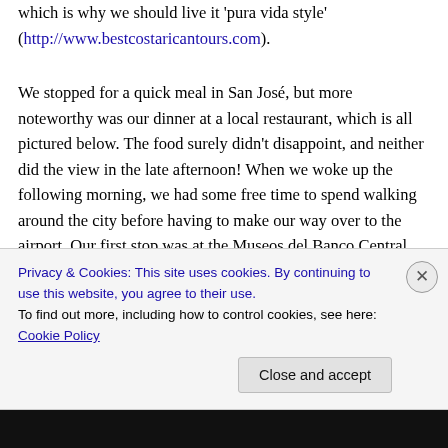which is why we should live it 'pura vida style' (http://www.bestcostaricantours.com).
We stopped for a quick meal in San José, but more noteworthy was our dinner at a local restaurant, which is all pictured below. The food surely didn't disappoint, and neither did the view in the late afternoon! When we woke up the following morning, we had some free time to spend walking around the city before having to make our way over to the airport. Our first stop was at the Museos del Banco Central which has an enormous collection of over
Privacy & Cookies: This site uses cookies. By continuing to use this website, you agree to their use. To find out more, including how to control cookies, see here: Cookie Policy